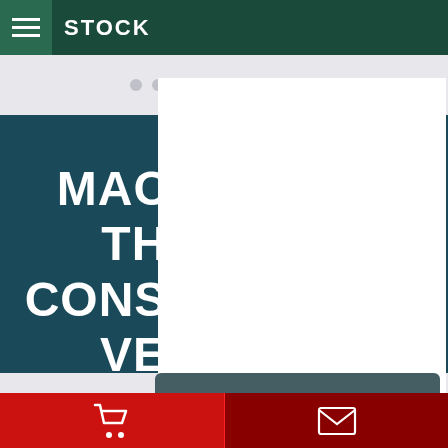STOCK
NEW MACHINERY® THE BEST CONSTRACTION VEHICLES
SHANTUI SD42 HEAVY TRACKED BULLDOZER 52T
[Figure (screenshot): Mobile app screenshot showing stock page of construction machinery dealer. Dark teal header with hamburger menu and STOCK label, carousel dots, large teal banner with headline text, product card tooltip with bulldozer name, orange navigation arrows, and red bottom navigation bar with cart and contact icons.]
Cart | Contact